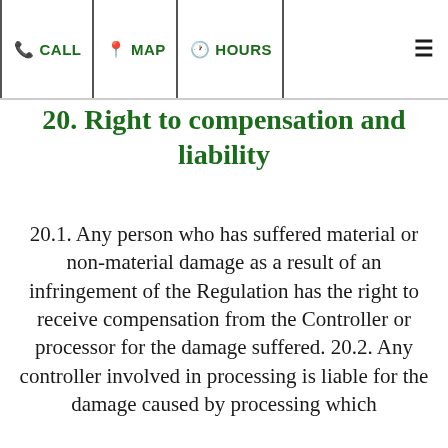CALL | MAP | HOURS
20. Right to compensation and liability
20.1. Any person who has suffered material or non-material damage as a result of an infringement of the Regulation has the right to receive compensation from the Controller or processor for the damage suffered. 20.2. Any controller involved in processing is liable for the damage caused by processing which